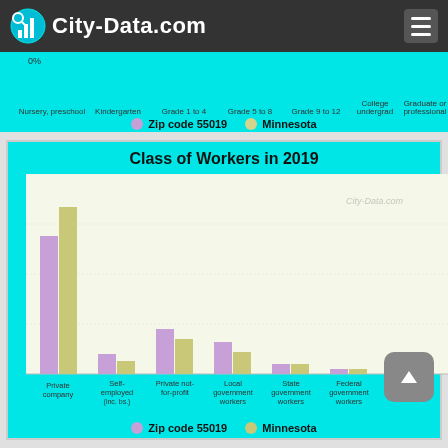City-Data.com
[Figure (grouped-bar-chart): Class of Workers in 2019]